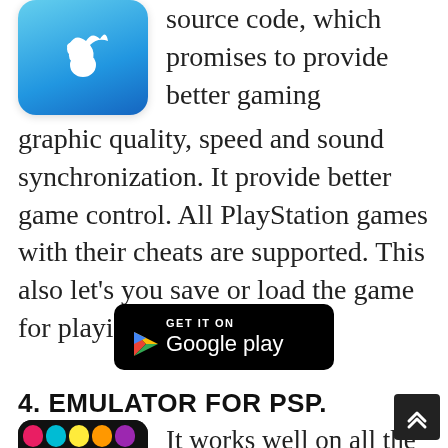[Figure (screenshot): App icon: blue rounded square with white Vine-like logo]
source code, which promises to provide better gaming graphic quality, speed and sound synchronization. It provide better game control. All PlayStation games with their cheats are supported. This also let's you save or load the game for playing later.
[Figure (logo): GET IT ON Google play button (black rounded rectangle)]
4. EMULATOR FOR PSP.
[Figure (screenshot): PSP emulator app icon: black background with colorful Pac-Man ghost characters and a PSP device in foreground with PSP text]
It works well on all the smart phones and tablets. It is a light weight android